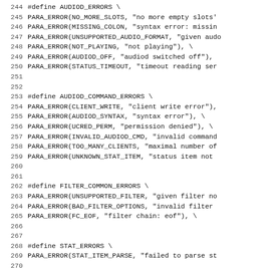Source code listing showing C preprocessor #define macros for error code groups: AUDIOD_ERRORS, AUDIOD_COMMAND_ERRORS, FILTER_COMMON_ERRORS, STAT_ERRORS, OGGDEC_FILTER_ERRORS, lines 244-275.